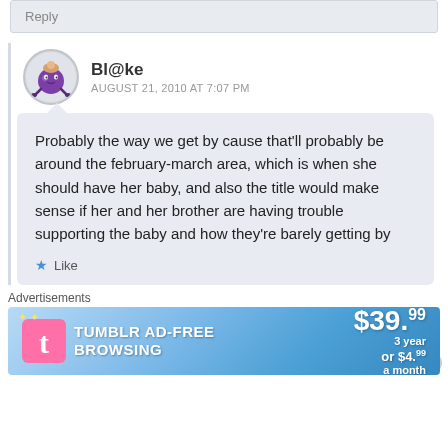Reply
Bl@ke
AUGUST 21, 2010 AT 7:07 PM
Probably the way we get by cause that'll probably be around the february-march area, which is when she should have her baby, and also the title would make sense if her and her brother are having trouble supporting the baby and how they're barely getting by
★ Like
Advertisements
[Figure (other): Tumblr ad-free browsing advertisement banner: $39.99/3 year or $4.99/a month]